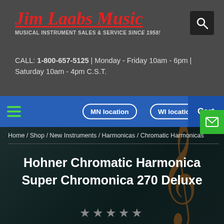Jim Laabs Music — Musical Instrument Sales & Service SINCE 1958!
CALL: 1-800-657-5125 | Monday - Friday 10am - 6pm | Saturday 10am - 4pm C.S.T.
MN location | WI location | Cart
Home / Shop / New Instruments / Harmonicas / Chromatic Harmonicas
Hohner Chromatic Harmonica Super Chromonica 270 Deluxe
★★★★★